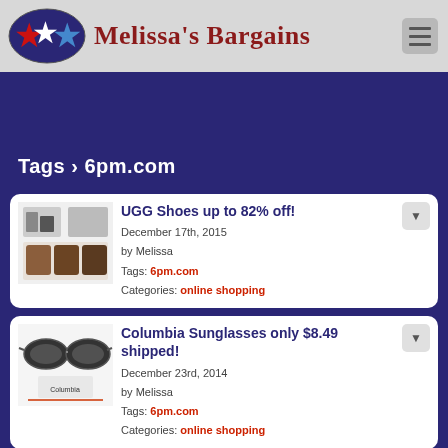Melissa's Bargains
Tags › 6pm.com
UGG Shoes up to 82% off!
December 17th, 2015
by Melissa
Tags: 6pm.com
Categories: online shopping
Columbia Sunglasses only $8.49 shipped!
December 23rd, 2014
by Melissa
Tags: 6pm.com
Categories: online shopping
Coach Purses up to 80% off plus FREE SHIPPING!
June 13th, 2014
by Melissa